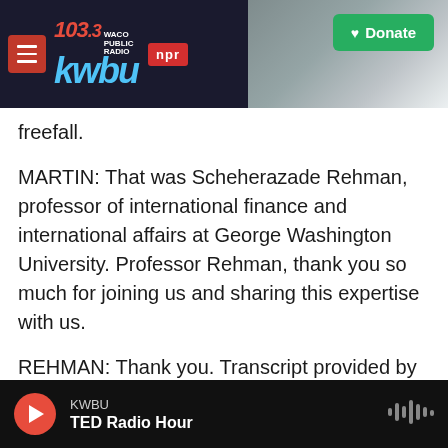[Figure (screenshot): KWBU 103.3 NPR radio station website header with logo, NPR badge, background photo of industrial facility, and green Donate button]
freefall.
MARTIN: That was Scheherazade Rehman, professor of international finance and international affairs at George Washington University. Professor Rehman, thank you so much for joining us and sharing this expertise with us.
REHMAN: Thank you. Transcript provided by NPR, Copyright NPR.
Latest from NPR
KWBU / TED Radio Hour